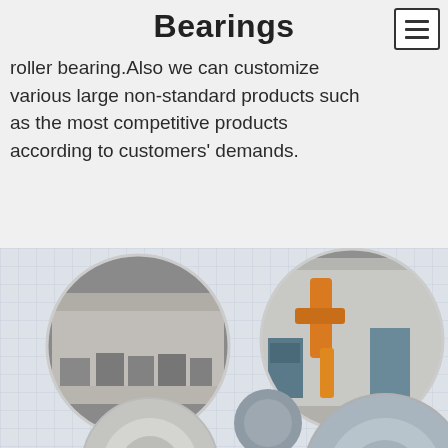Bearings
roller bearing.Also we can customize various large non-standard products such as the most competitive products according to customers' demands.
[Figure (photo): Manufacturing facility photos shown in circular frames: left circle shows a factory floor with CNC/grinding machines, right circle shows an industrial robotic arm with orange hydraulic mechanism, bottom partial circles show bearing/machine parts. Grid-pattern background behind the photos.]